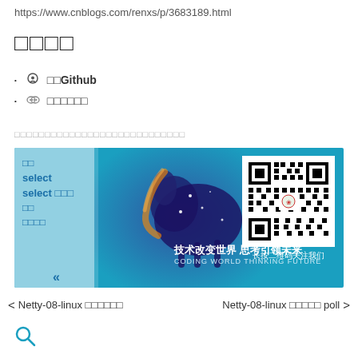https://www.cnblogs.com/renxs/p/3683189.html
□□□□
□□ Github
□□□□□□
□□□□□□□□□□□□□□□□□□□□□□□□□□□
[Figure (screenshot): WeChat official account banner with navigation menu on left (light blue panel), a horse constellation image in center, QR code on right, Chinese slogan text, and sub-navigation items]
< Netty-08-linux □□□□□□       Netty-08-linux □□□□□ poll >
[Figure (other): Search magnifying glass icon]